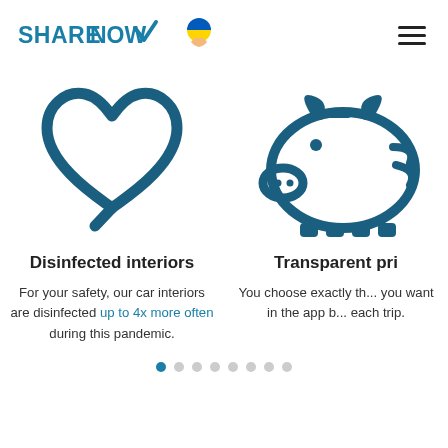SHARENOW (logo with checkmark and Ukraine support icon, hamburger menu)
[Figure (illustration): Heart outline icon in dark teal]
[Figure (illustration): Piggy bank outline icon in dark teal (partially visible, cropped on right)]
Disinfected interiors
For your safety, our car interiors are disinfected up to 4x more often during this pandemic.
Transparent pri...
You choose exactly th... you want in the app b... each trip.